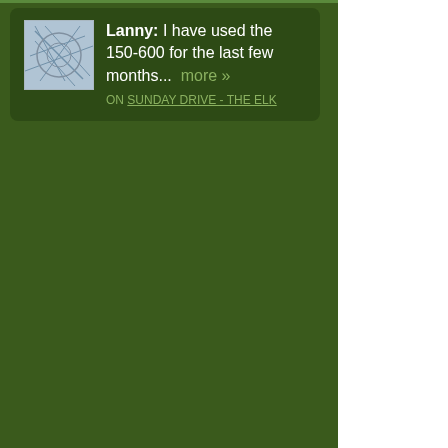Lanny: I have used the 150-600 for the last few months... more » ON SUNDAY DRIVE - THE ELK